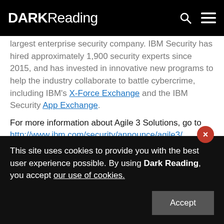DARK Reading
largest enterprise security company. IBM Security has hired approximately 1,900 security experts since 2015, and has invested in innovative new programs to help the industry collaborate to battle cybercrime, including IBM's X-Force Exchange and the IBM Security App Exchange.
For more information about Agile 3 Solutions, go to http://www.ibm.com/security/announce/agile3/
About IBM Security
IBM Security offers one of the most advanced and
This site uses cookies to provide you with the best user experience possible. By using Dark Reading, you accept our use of cookies.